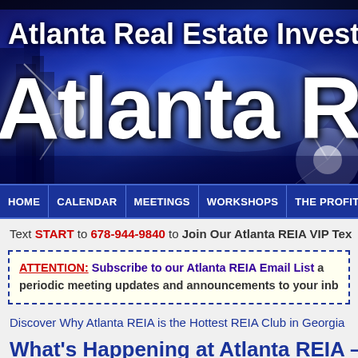[Figure (screenshot): Atlanta Real Estate Investors Association banner header with blue gradient background, city skyline silhouette, and large white bold text reading 'Atlanta Real Estate Inves...' and 'Atlanta R...' with sparkle light effects]
[Figure (screenshot): Navigation bar with dark blue background and white bold text menu items: HOME, CALENDAR, MEETINGS, WORKSHOPS, THE PROFIT, WEBCAST]
Text START to 678-944-9840 to Join Our Atlanta REIA VIP Tex...
ATTENTION: Subscribe to our Atlanta REIA Email List a... periodic meeting updates and announcements to your inbox re...
Discover Why Atlanta REIA is the Hottest REIA Club in Georgia...
What's Happening at Atlanta REIA – Augu...